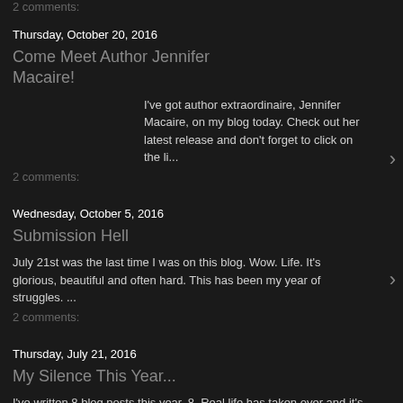2 comments:
Thursday, October 20, 2016
Come Meet Author Jennifer Macaire!
I've got author extraordinaire, Jennifer Macaire, on my blog today. Check out her latest release and don't forget to click on the li...
2 comments:
Wednesday, October 5, 2016
Submission Hell
July 21st was the last time I was on this blog. Wow. Life. It's glorious, beautiful and often hard. This has been my year of struggles. ...
2 comments:
Thursday, July 21, 2016
My Silence This Year...
I've written 8 blog posts this year. 8. Real life has taken over and it's been a HARD year. It's been a year that has TESTED